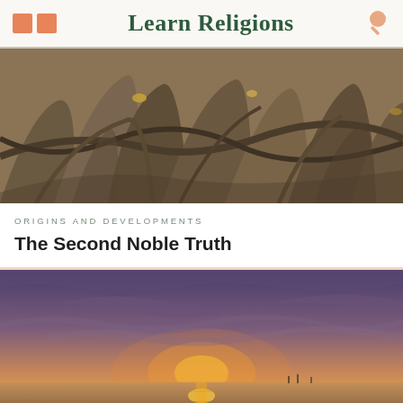Learn Religions
[Figure (photo): Close-up photograph of large intertwined tree roots, brown and grey tones]
ORIGINS AND DEVELOPMENTS
The Second Noble Truth
[Figure (photo): Scenic sunset over water with dramatic cloudy sky in purple, orange and pink tones, silhouette of low land/pier in foreground]